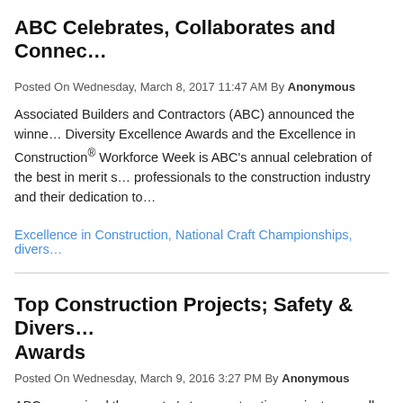ABC Celebrates, Collaborates and Connec…
Posted On Wednesday, March 8, 2017 11:47 AM By Anonymous
Associated Builders and Contractors (ABC) announced the winners of the Diversity Excellence Awards and the Excellence in Construction® … Workforce Week is ABC's annual celebration of the best in merit shop professionals to the construction industry and their dedication to…
Excellence in Construction, National Craft Championships, divers…
Top Construction Projects; Safety & Divers… Awards
Posted On Wednesday, March 9, 2016 3:27 PM By Anonymous
ABC recognized the country's top construction projects as well as… Construction® Awards gala March 2 in Fort Lauderdale, Fla.
Excellence in Construction, diversity, safety
Calling Future Diversity Resource Group M…